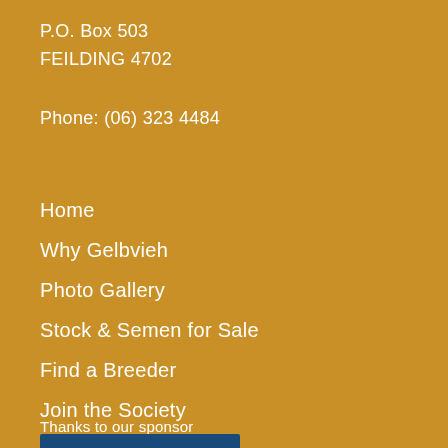P.O. Box 503
FEILDING 4702
Phone: (06) 323 4484
Home
Why Gelbvieh
Photo Gallery
Stock & Semen for Sale
Find a Breeder
Join the Society
Contact Us
Thanks to our sponsor